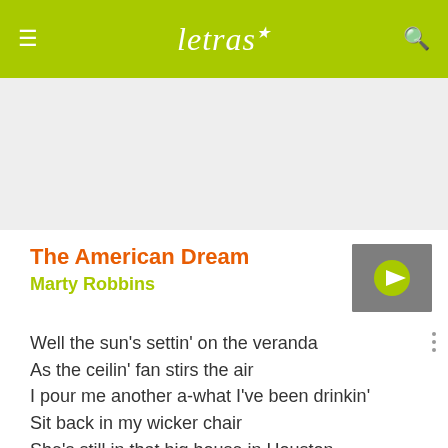letras
[Figure (other): Gray advertisement placeholder area]
The American Dream
Marty Robbins
[Figure (photo): Thumbnail image of artist with green play button overlay]
Well the sun's settin' on the veranda
As the ceilin' fan stirs the air
I pour me another a-what I've been drinkin'
Sit back in my wicker chair
She's still in that big house in Houston
Where we tried to find happiness